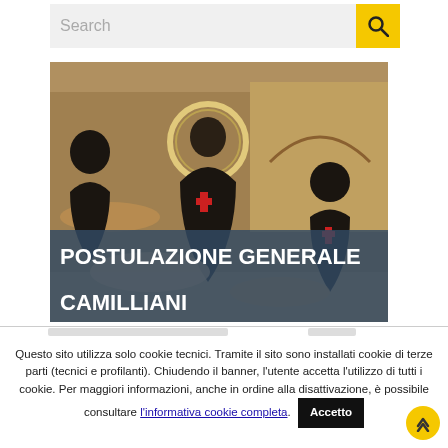[Figure (screenshot): Search bar with text input area and yellow search icon button]
[Figure (photo): Religious painting depicting a saint with a red cross helping sick people, with ruined buildings in the background. Overlaid text reads POSTULAZIONE GENERALE CAMILLIANI]
Questo sito utilizza solo cookie tecnici. Tramite il sito sono installati cookie di terze parti (tecnici e profilanti). Chiudendo il banner, l'utente accetta l'utilizzo di tutti i cookie. Per maggiori informazioni, anche in ordine alla disattivazione, è possibile consultare l'informativa cookie completa.